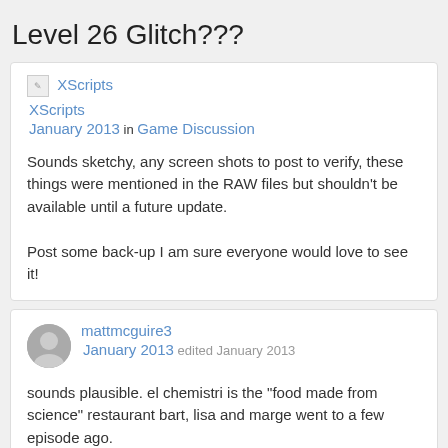Level 26 Glitch???
XScripts
January 2013 in Game Discussion

Sounds sketchy, any screen shots to post to verify, these things were mentioned in the RAW files but shouldn't be available until a future update.

Post some back-up I am sure everyone would love to see it!
mattmcguire3
January 2013 edited January 2013

sounds plausible. el chemistri is the "food made from science" restaurant bart, lisa and marge went to a few episode ago.
shelldude402